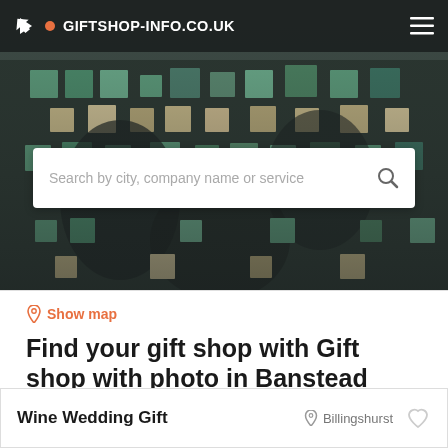GIFTSHOP-INFO.CO.UK
[Figure (screenshot): Hero background image showing decorative tiled or mosaic pattern in teal/green and beige tones with dark elements]
Search by city, company name or service
Show map
Find your gift shop with Gift shop with photo in Banstead
Find the best gift shop with Gift shop with photo in Banstead based on your criteria.
Filters
Wine Wedding Gift
Billingshurst